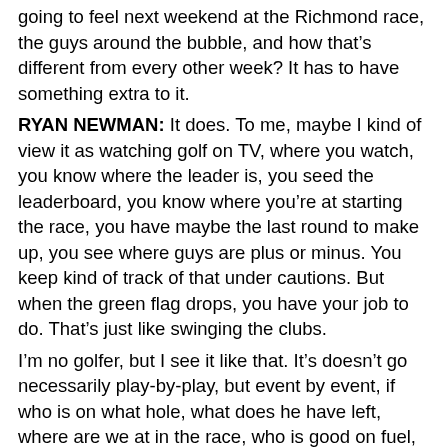going to feel next weekend at the Richmond race, the guys around the bubble, and how that's different from every other week?  It has to have something extra to it.
RYAN NEWMAN:  It does.  To me, maybe I kind of view it as watching golf on TV, where you watch, you know where the leader is, you seed the leaderboard, you know where you're at starting the race, you have maybe the last round to make up, you see where guys are plus or minus.  You keep kind of track of that under cautions.  But when the green flag drops, you have your job to do.  That's just like swinging the clubs.
I'm no golfer, but I see it like that.  It's doesn't go necessarily play-by-play, but event by event, if who is on what hole, what does he have left, where are we at in the race, who is good on fuel, things like that.
You kind of watch that.  But in the end, as a driver, you're still focused on hitting your marks, not screwing up, not taking yourself out.
So I think to me that was the first thing that came to my mind when you asked the question.  I'm not a huge golf fan, but I've